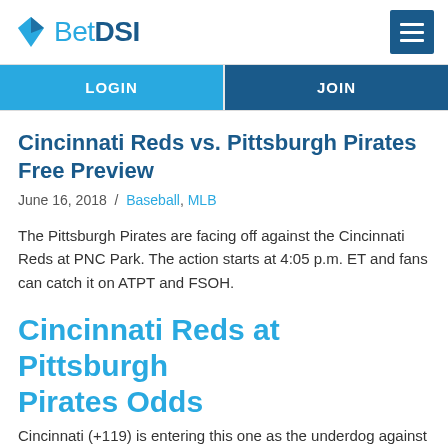BetDSI
LOGIN
JOIN
Cincinnati Reds vs. Pittsburgh Pirates Free Preview
June 16, 2018  /  Baseball, MLB
The Pittsburgh Pirates are facing off against the Cincinnati Reds at PNC Park. The action starts at 4:05 p.m. ET and fans can catch it on ATPT and FSOH.
Cincinnati Reds at Pittsburgh Pirates Odds
Cincinnati (+119) is entering this one as the underdog against...